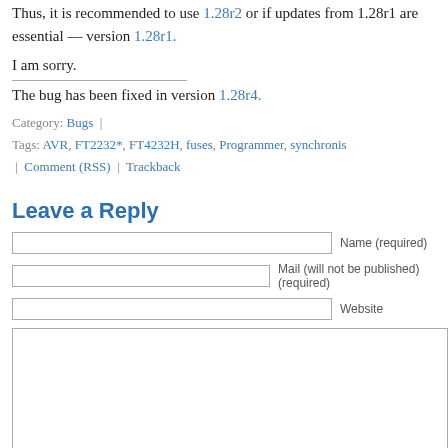Thus, it is recommended to use 1.28r2 or if updates from 1.28r1 are essential — version 1.28r1.
I am sorry.
The bug has been fixed in version 1.28r4.
Category: Bugs | Tags: AVR, FT2232*, FT4232H, fuses, Programmer, synchronis... | Comment (RSS) | Trackback
Leave a Reply
Name (required) [input field]
Mail (will not be published) (required) [input field]
Website [input field]
[textarea for comment]
Submit Comment [button]